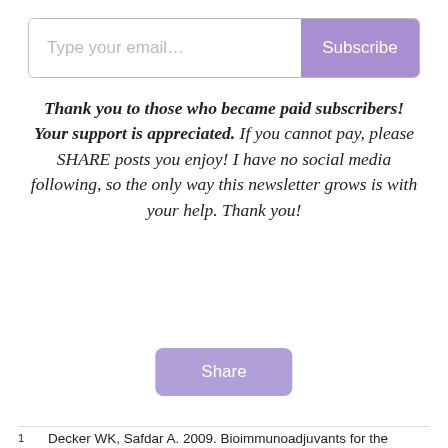[Figure (other): Email subscription input box with 'Type your email...' placeholder and a purple 'Subscribe' button]
Thank you to those who became paid subscribers! Your support is appreciated. If you cannot pay, please SHARE posts you enjoy! I have no social media following, so the only way this newsletter grows is with your help. Thank you!
[Figure (other): Purple rounded 'Share' button]
1   Decker WK, Safdar A. 2009. Bioimmunoadjuvants for the treatment of neoplastic and infectious disease: Coley's legacy revisited. Cytokine and Growth Factor Reviews 20(4):271-81. doi: 10.1016/j.cytogfr.2009.07.004.